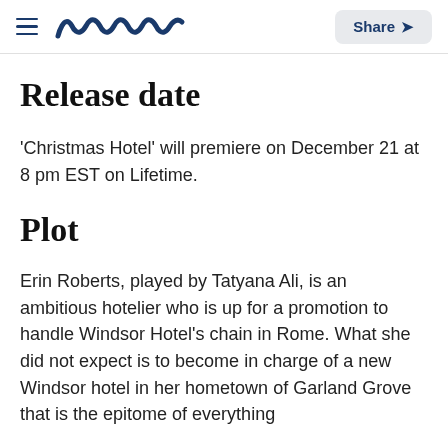meaww  Share
Release date
'Christmas Hotel' will premiere on December 21 at 8 pm EST on Lifetime.
Plot
Erin Roberts, played by Tatyana Ali, is an ambitious hotelier who is up for a promotion to handle Windsor Hotel's chain in Rome. What she did not expect is to become in charge of a new Windsor hotel in her hometown of Garland Grove that is the epitome of everything